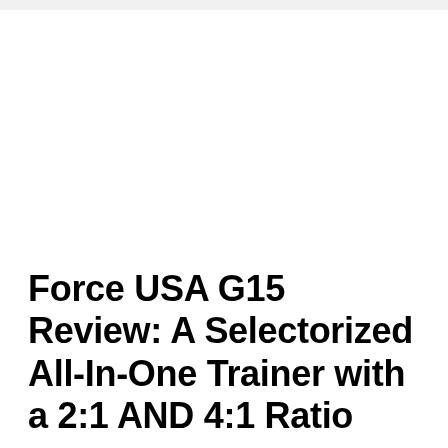Force USA G15 Review: A Selectorized All-In-One Trainer with a 2:1 AND 4:1 Ratio